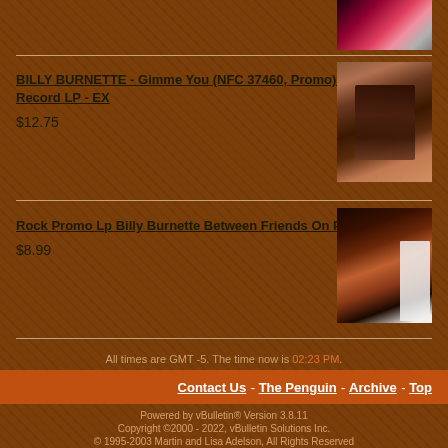[Figure (photo): Album cover image partially visible at top right]
BILLY BURNETTE - Gimme You (NFC 37460, Promo) - 12" Vinyl Record LP - EX
$12.75
[Figure (photo): Billy Burnette album cover - face close-up on brown/red tones]
Rock Promo Lp Billy Burnette Between Friends On Polydor
$8.99
[Figure (photo): Billy Burnette Between Friends album cover on Polydor]
All times are GMT -5. The time now is 02:23 PM.
Contact Us - The Penguin - Archive - Top
Powered by vBulletin® Version 3.8.11
Copyright ©2000 - 2022, vBulletin Solutions Inc.
© 1995-2003 Martin and Lisa Adelson, All Rights Reserved